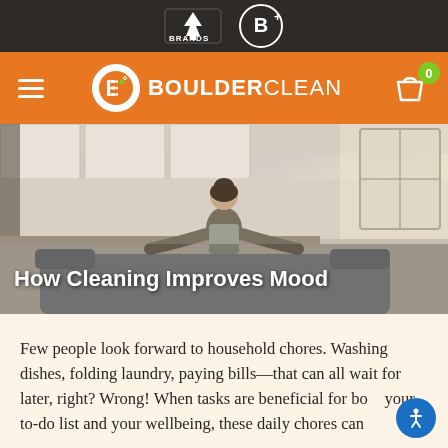ETB Brands / Boulder Clean navigation header
[Figure (photo): Woman sitting on a couch in a clean kitchen, arms outstretched in a relaxed pose, with the text 'How Cleaning Improves Mood' overlaid in white bold text]
How Cleaning Improves Mood
Few people look forward to household chores. Washing dishes, folding laundry, paying bills—that can all wait for later, right? Wrong! When tasks are beneficial for both your to-do list and your wellbeing, these daily chores can